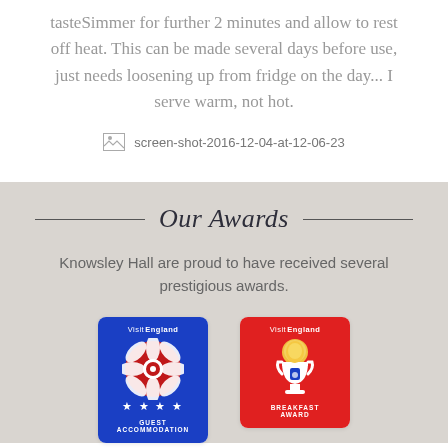tasteSimmer for further 2 minutes and allow to rest off heat. This can be made several days before use, just needs loosening up from fridge on the day... I serve warm, not hot.
[Figure (screenshot): Broken image placeholder for screen-shot-2016-12-04-at-12-06-23]
Our Awards
Knowsley Hall are proud to have received several prestigious awards.
[Figure (logo): VisitEngland Guest Accommodation award badge (blue, with Tudor rose and 4 stars)]
[Figure (logo): VisitEngland Breakfast Award badge (red, with trophy and egg)]